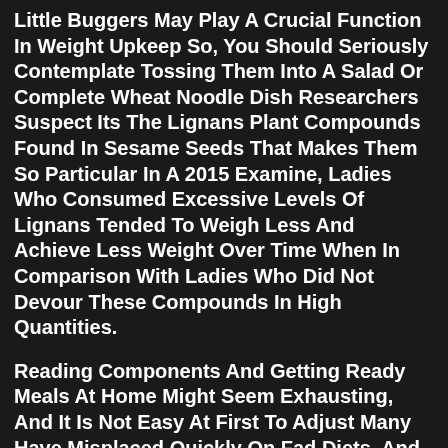Little Buggers May Play A Crucial Function In Weight Upkeep So, You Should Seriously Contemplate Tossing Them Into A Salad Or Complete Wheat Noodle Dish Researchers Suspect Its The Lignans Plant Compounds Found In Sesame Seeds That Makes Them So Particular In A 2015 Examine, Ladies Who Consumed Excessive Levels Of Lignans Tended To Weigh Less And Achieve Less Weight Over Time When In Comparison With Ladies Who Did Not Devour These Compounds In High Quantities.
Reading Components And Getting Ready Meals At Home Might Seem Exhausting, And It Is Not Easy At First To Adjust Many Have Misplaced Quickly On Fad Diets, And It Might Be Tempting To Buy Food Regimen Meals As A Substitute Of Best Weight Loss Pills Preparing Your Personal However, Fad Diets Are Focused On Fast Weight Reduction, Not Long Term Solutions And Well Being Administration, So Many People Achieve Back Everything They Misplaced And More When The Diet Is Over You Also Could Also Be Saving...